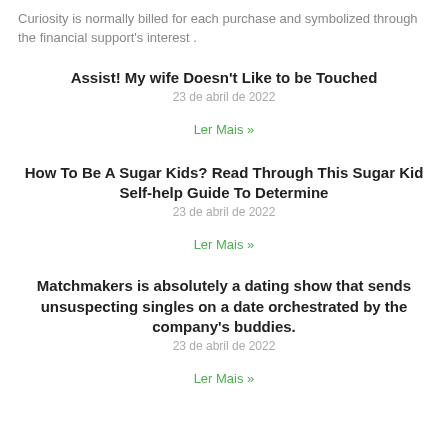Curiosity is normally billed for each purchase and symbolized through the financial support's interest .
Assist! My wife Doesn't Like to be Touched
23 de abril de 2022
Ler Mais »
How To Be A Sugar Kids? Read Through This Sugar Kid Self-help Guide To Determine
23 de abril de 2022
Ler Mais »
Matchmakers is absolutely a dating show that sends unsuspecting singles on a date orchestrated by the company's buddies.
23 de abril de 2022
Ler Mais »